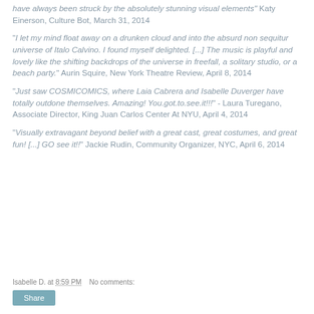"have always been struck by the absolutely stunning visual elements" Katy Einerson, Culture Bot, March 31, 2014
"I let my mind float away on a drunken cloud and into the absurd non sequitur universe of Italo Calvino. I found myself delighted. [...] The music is playful and lovely like the shifting backdrops of the universe in freefall, a solitary studio, or a beach party." Aurin Squire, New York Theatre Review, April 8, 2014
"Just saw COSMICOMICS, where Laia Cabrera and Isabelle Duverger have totally outdone themselves. Amazing! You.got.to.see.it!!!" - Laura Turegano, Associate Director, King Juan Carlos Center At NYU, April 4, 2014
"Visually extravagant beyond belief with a great cast, great costumes, and great fun! [...] GO see it!!" Jackie Rudin, Community Organizer, NYC, April 6, 2014
Isabelle D. at 8:59 PM   No comments: